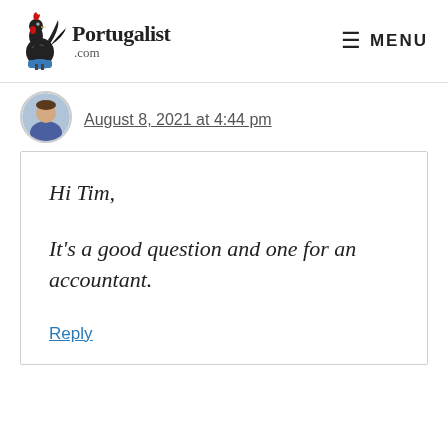Portugalist .com | MENU
August 8, 2021 at 4:44 pm
Hi Tim,

It's a good question and one for an accountant.

Reply